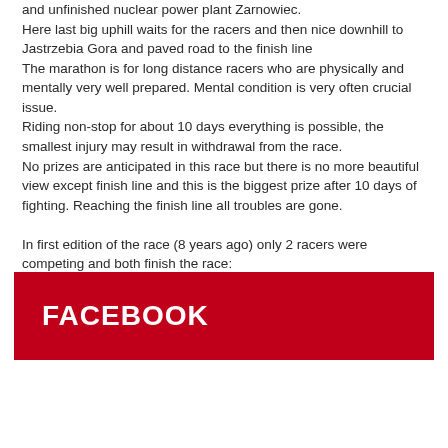and unfinished nuclear power plant Zarnowiec.
Here last big uphill waits for the racers and then nice downhill to Jastrzebia Gora and paved road to the finish line
The marathon is for long distance racers who are physically and mentally very well prepared. Mental condition is very often crucial issue.
Riding non-stop for about 10 days everything is possible, the smallest injury may result in withdrawal from the race.
No prizes are anticipated in this race but there is no more beautiful view except finish line and this is the biggest prize after 10 days of fighting. Reaching the finish line all troubles are gone.

In first edition of the race (8 years ago) only 2 racers were competing and both finish the race:
Daniel Smieja/Liro Team i Wojciech Szymczak/Sopot Killers with the scores respectively:
9 days 8 hours and 19 minutes and 9 days 15 hours and 52 minutes
[Figure (other): Red banner/button with white bold text reading FACEBOOK]